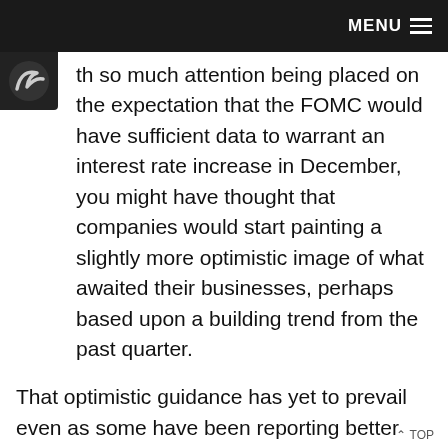MENU
[Figure (logo): Dark circular logo badge with a curved arrow/bird shape on black background]
th so much attention being placed on the expectation that the FOMC would have sufficient data to warrant an interest rate increase in December, you might have thought that companies would start painting a slightly more optimistic image of what awaited their businesses, perhaps based upon a building trend from the past quarter.
That optimistic guidance has yet to prevail even as some have been reporting better than expected revenues.
But no one should be surprised with the mixed messages that the market hasn't been able to interpret and then use as a foothold to move in a sustained direction.
The mixed messages coming from those reporting just follows the wonderful example of streaming mixed
^ TOP